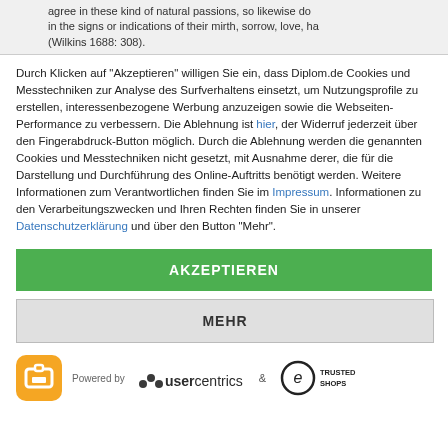agree in these kind of natural passions, so likewise do in the signs or indications of their mirth, sorrow, love, ha (Wilkins 1688: 308).
Durch Klicken auf "Akzeptieren" willigen Sie ein, dass Diplom.de Cookies und Messtechniken zur Analyse des Surfverhaltens einsetzt, um Nutzungsprofile zu erstellen, interessenbezogene Werbung anzuzeigen sowie die Webseiten-Performance zu verbessern. Die Ablehnung ist hier, der Widerruf jederzeit über den Fingerabdruck-Button möglich. Durch die Ablehnung werden die genannten Cookies und Messtechniken nicht gesetzt, mit Ausnahme derer, die für die Darstellung und Durchführung des Online-Auftritts benötigt werden. Weitere Informationen zum Verantwortlichen finden Sie im Impressum. Informationen zu den Verarbeitungszwecken und Ihren Rechten finden Sie in unserer Datenschutzerklärung und über den Button "Mehr".
AKZEPTIEREN
MEHR
Powered by usercentrics & TRUSTED SHOPS